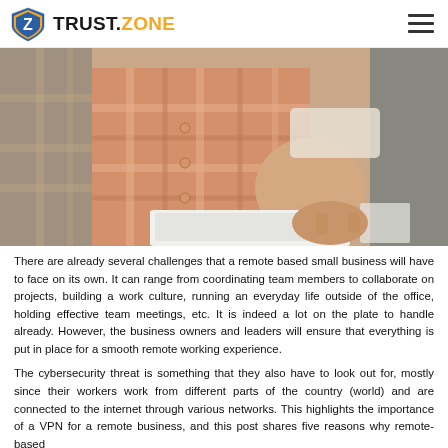TRUST.ZONE
[Figure (photo): Close-up of a person wearing a pink/orange plaid shirt, sitting and holding a white laptop, with a grey background.]
There are already several challenges that a remote based small business will have to face on its own. It can range from coordinating team members to collaborate on projects, building a work culture, running an everyday life outside of the office, holding effective team meetings, etc. It is indeed a lot on the plate to handle already. However, the business owners and leaders will ensure that everything is put in place for a smooth remote working experience.
The cybersecurity threat is something that they also have to look out for, mostly since their workers work from different parts of the country (world) and are connected to the internet through various networks. This highlights the importance of a VPN for a remote business, and this post shares five reasons why remote-based